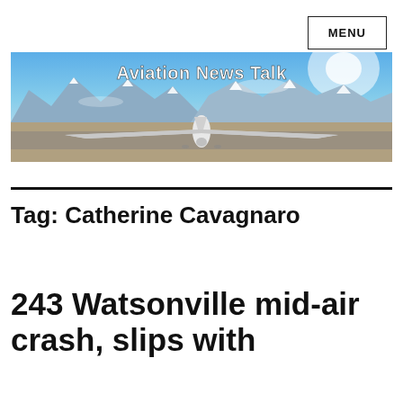MENU
[Figure (photo): Aviation News Talk banner image showing a white aircraft on a runway with snow-capped mountains and blue sky in the background. Text overlay reads 'Aviation News Talk'.]
Tag: Catherine Cavagnaro
243 Watsonville mid-air crash, slips with